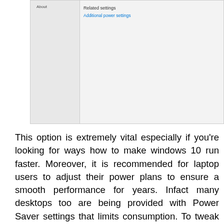[Figure (screenshot): Windows Settings screenshot showing 'About' in sidebar and 'Related settings' with 'Additional power settings' link in main content area]
This option is extremely vital especially if you're looking for ways how to make windows 10 run faster. Moreover, it is recommended for laptop users to adjust their power plans to ensure a smooth performance for years. Infact many desktops too are being provided with Power Saver settings that limits consumption. To tweak power settings, open Control Panel and navigate to Hardware and Sound. Click on Power Options to see the available power options. Using high performance plan will drastically improve performance, but will come at the cost of some visual detail. It would be recommended to